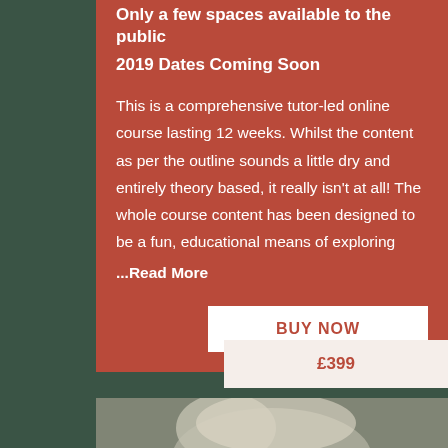Only a few spaces available to the public
2019 Dates Coming Soon
This is a comprehensive tutor-led online course lasting 12 weeks. Whilst the content as per the outline sounds a little dry and entirely theory based, it really isn't at all! The whole course content has been designed to be a fun, educational means of exploring
...Read More
BUY NOW
£399
[Figure (photo): Photo of a white animal (possibly a goat or dog) outdoors on what appears to be a wooden surface, partial view from below the frame]